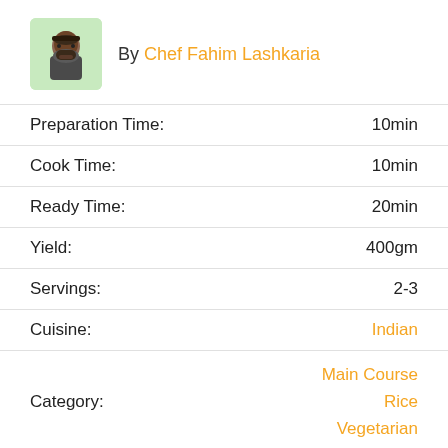By Chef Fahim Lashkaria
| Label | Value |
| --- | --- |
| Preparation Time: | 10min |
| Cook Time: | 10min |
| Ready Time: | 20min |
| Yield: | 400gm |
| Servings: | 2-3 |
| Cuisine: | Indian |
| Category: | Main Course
Rice
Vegetarian |
Difficulty Level:
Ratings: